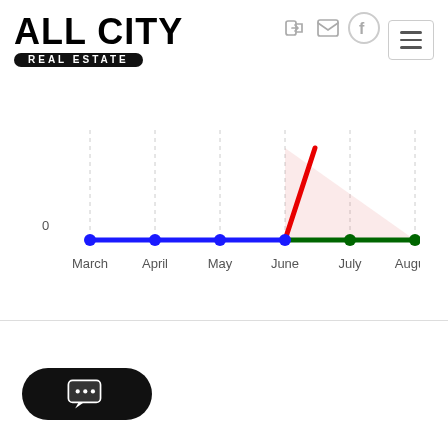[Figure (logo): All City Real Estate logo — bold black text 'ALL CITY' with 'REAL ESTATE' in a black pill/rounded rectangle below]
[Figure (line-chart): Line chart showing a flat blue line at 0 from March through June, a red upward line from June to a peak, a pink shaded region from June to August, and a flat green line from June to August at 0.]